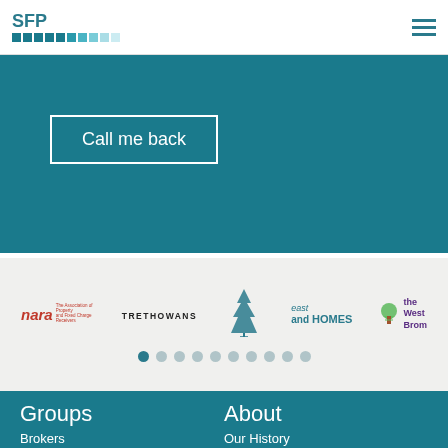SFP
[Figure (illustration): Call me back button on teal background]
[Figure (illustration): Logo carousel strip with nara, TRETHOWANS, tree logo, east and HOMES, the West Brom logos and pagination dots]
Groups
About
Brokers
Our History
Property
About us
Recoveries
Testimonials